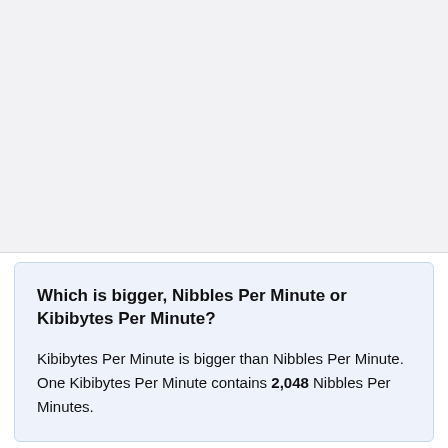[Figure (other): Gray background area at the top of the page, likely placeholder for an image or chart]
Which is bigger, Nibbles Per Minute or Kibibytes Per Minute?
Kibibytes Per Minute is bigger than Nibbles Per Minute. One Kibibytes Per Minute contains 2,048 Nibbles Per Minutes.